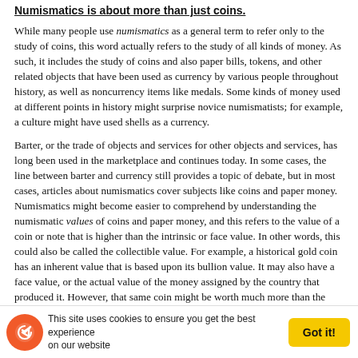Numismatics is about more than just coins.
While many people use numismatics as a general term to refer only to the study of coins, this word actually refers to the study of all kinds of money. As such, it includes the study of coins and also paper bills, tokens, and other related objects that have been used as currency by various people throughout history, as well as noncurrency items like medals. Some kinds of money used at different points in history might surprise novice numismatists; for example, a culture might have used shells as a currency.
Barter, or the trade of objects and services for other objects and services, has long been used in the marketplace and continues today. In some cases, the line between barter and currency still provides a topic of debate, but in most cases, articles about numismatics cover subjects like coins and paper money. Numismatics might become easier to comprehend by understanding the numismatic values of coins and paper money, and this refers to the value of a coin or note that is higher than the intrinsic or face value. In other words, this could also be called the collectible value. For example, a historical gold coin has an inherent value that is based upon its bullion value. It may also have a face value, or the actual value of the money assigned by the country that produced it. However, that same coin might be worth much more than the gold or the face value because it is rare, historically significant, beautiful, and/or designed by a famous artist.
Ultimately, understanding numismatics really depends upon understanding the
This site uses cookies to ensure you get the best experience on our website